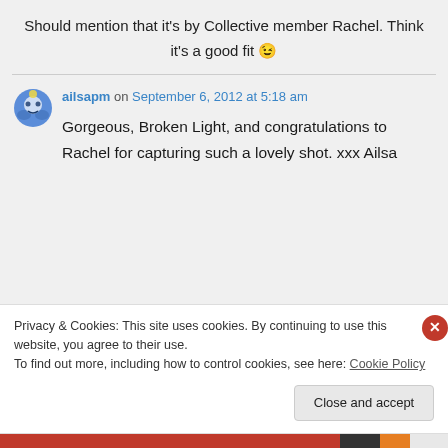Should mention that it's by Collective member Rachel. Think it's a good fit 😉
ailsapm on September 6, 2012 at 5:18 am
Gorgeous, Broken Light, and congratulations to Rachel for capturing such a lovely shot. xxx Ailsa
Privacy & Cookies: This site uses cookies. By continuing to use this website, you agree to their use.
To find out more, including how to control cookies, see here: Cookie Policy